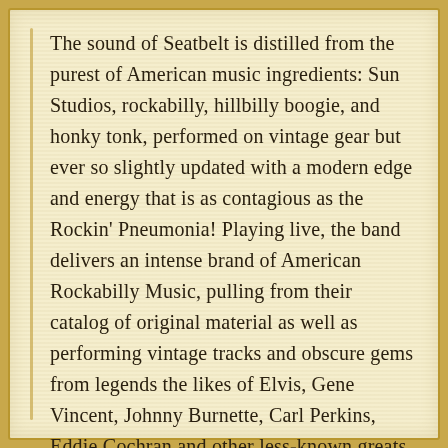The sound of Seatbelt is distilled from the purest of American music ingredients: Sun Studios, rockabilly, hillbilly boogie, and honky tonk, performed on vintage gear but ever so slightly updated with a modern edge and energy that is as contagious as the Rockin' Pneumonia! Playing live, the band delivers an intense brand of American Rockabilly Music, pulling from their catalog of original material as well as performing vintage tracks and obscure gems from legends the likes of Elvis, Gene Vincent, Johnny Burnette, Carl Perkins, Eddie Cochran and other less-known greats. They have also been known to update classic rock tunes in a rockabilly/hillbilly style. There is always a surprise or two in store for audiences!